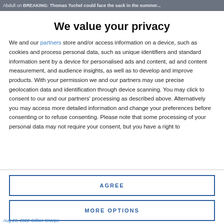Abdull on BREAKING: Thomas Tuchel could face the sack in the summer...
We value your privacy
We and our partners store and/or access information on a device, such as cookies and process personal data, such as unique identifiers and standard information sent by a device for personalised ads and content, ad and content measurement, and audience insights, as well as to develop and improve products. With your permission we and our partners may use precise geolocation data and identification through device scanning. You may click to consent to our and our partners' processing as described above. Alternatively you may access more detailed information and change your preferences before consenting or to refuse consenting. Please note that some processing of your personal data may not require your consent, but you have a right to
AGREE
MORE OPTIONS
Aug 28, 2022 Gillian Snarpe